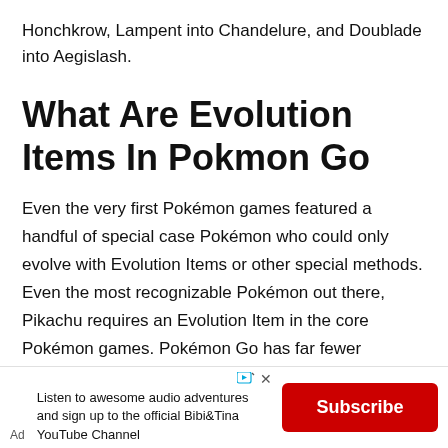Honchkrow, Lampent into Chandelure, and Doublade into Aegislash.
What Are Evolution Items In Pokmon Go
Even the very first Pokémon games featured a handful of special case Pokémon who could only evolve with Evolution Items or other special methods. Even the most recognizable Pokémon out there, Pikachu requires an Evolution Item in the core Pokémon games. Pokémon Go has far fewer Evolution Items and special cases for Evolution than the core games, but there are a few.
The Evo...
[Figure (infographic): Advertisement banner with text: Listen to awesome audio adventures and sign up to the official Bibi&Tina YouTube Channel. Ad label on left. Subscribe button in red on right. Play icon and X button at top right of ad.]